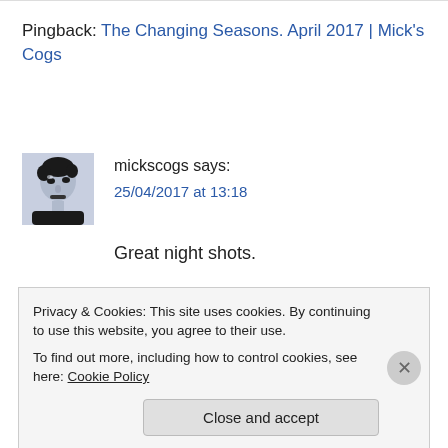Pingback: The Changing Seasons. April 2017 | Mick's Cogs
[Figure (photo): Avatar image of mickscogs — black and white stylized portrait on a light blue background]
mickscogs says:
25/04/2017 at 13:18
Great night shots.
Privacy & Cookies: This site uses cookies. By continuing to use this website, you agree to their use.
To find out more, including how to control cookies, see here: Cookie Policy